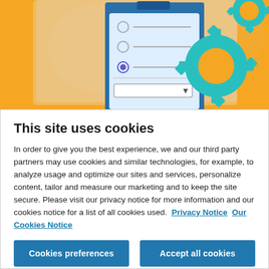[Figure (illustration): Illustration of a form/checklist on a clipboard with radio buttons and a dropdown, set against an orange background with teal gear icons]
This site uses cookies
In order to give you the best experience, we and our third party partners may use cookies and similar technologies, for example, to analyze usage and optimize our sites and services, personalize content, tailor and measure our marketing and to keep the site secure. Please visit our privacy notice for more information and our cookies notice for a list of all cookies used.  Privacy Notice  Our Cookies Notice
Cookies preferences
Accept all cookies